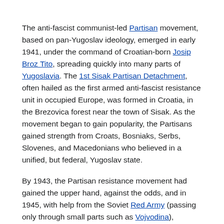The anti-fascist communist-led Partisan movement, based on pan-Yugoslav ideology, emerged in early 1941, under the command of Croatian-born Josip Broz Tito, spreading quickly into many parts of Yugoslavia. The 1st Sisak Partisan Detachment, often hailed as the first armed anti-fascist resistance unit in occupied Europe, was formed in Croatia, in the Brezovica forest near the town of Sisak. As the movement began to gain popularity, the Partisans gained strength from Croats, Bosniaks, Serbs, Slovenes, and Macedonians who believed in a unified, but federal, Yugoslav state.
By 1943, the Partisan resistance movement had gained the upper hand, against the odds, and in 1945, with help from the Soviet Red Army (passing only through small parts such as Vojvodina), expelled the Axis forces and local supporters. The ZAVNOH, state anti-fascist council of people's liberation of Croatia, functioned since 1944 and formed an interim civil government. NDH's ministers of War and Internal Security Mladen Lorković and Ante Vokić tried to switch to Allied side. Pavelić was in the beginning supporting them but when he found that he would need to leave his position he